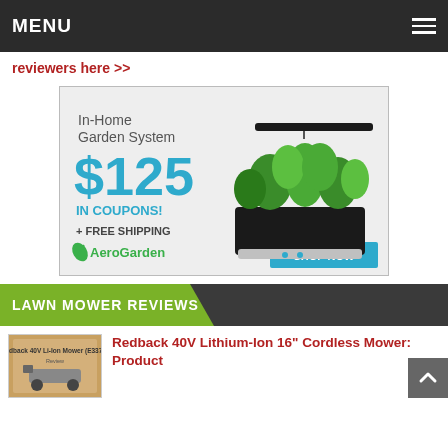MENU
reviewers here >>
[Figure (illustration): AeroGarden advertisement: In-Home Garden System $125 IN COUPONS! + FREE SHIPPING. AeroGarden logo with SHOP NOW button. Shows a black AeroGarden unit with lush green herbs growing under a light bar.]
LAWN MOWER REVIEWS
[Figure (photo): Thumbnail image of a Redback 40V Li-Ion Mower (E137C) Review product box]
Redback 40V Lithium-Ion 16" Cordless Mower: Product